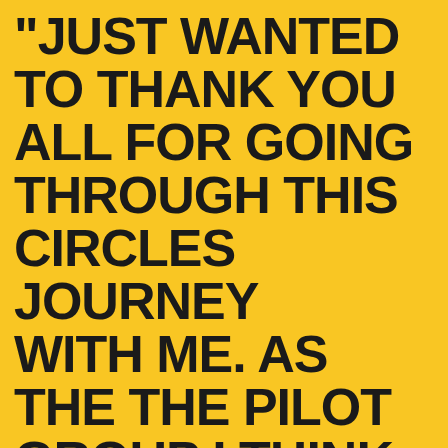"JUST WANTED TO THANK YOU ALL FOR GOING THROUGH THIS CIRCLES JOURNEY WITH ME. AS THE THE PILOT GROUP I THINK WE HAVE DEFINITELY PROVEN THAT THI...